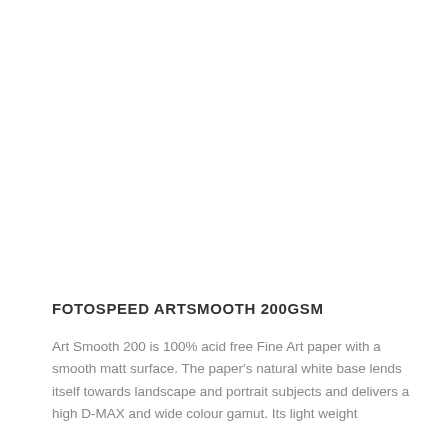FOTOSPEED ARTSMOOTH 200GSM
Art Smooth 200 is 100% acid free Fine Art paper with a smooth matt surface. The paper's natural white base lends itself towards landscape and portrait subjects and delivers a high D-MAX and wide colour gamut. Its light weight